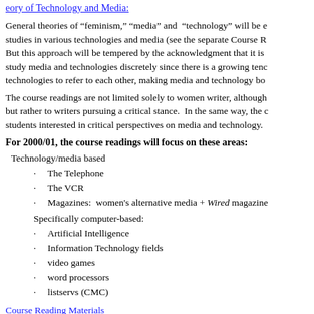eory of Technology and Media:
General theories of “feminism,” “media” and “technology” will be examined alongside case studies in various technologies and media (see the separate Course Reader listing below). But this approach will be tempered by the acknowledgment that it is increasingly difficult to study media and technologies discretely since there is a growing tendency of media and technologies to refer to each other, making media and technology bo
The course readings are not limited solely to women writer, although the course is not limited but rather to writers pursuing a critical stance.  In the same way, the course is not limited to students interested in critical perspectives on media and technology.
For 2000/01, the course readings will focus on these areas:
Technology/media based
The Telephone
The VCR
Magazines:  women's alternative media + Wired magazine
Specifically computer-based:
Artificial Intelligence
Information Technology fields
video games
word processors
listservs (CMC)
Course Reading Materials